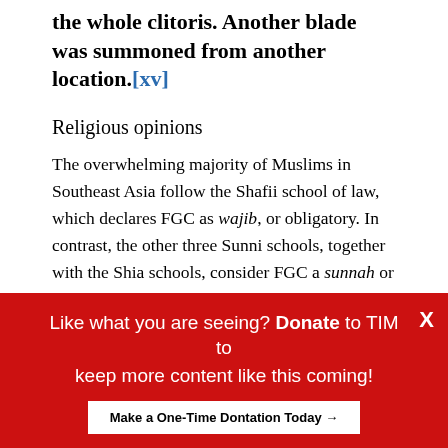the whole clitoris. Another blade was summoned from another location.[xv]
Religious opinions
The overwhelming majority of Muslims in Southeast Asia follow the Shafii school of law, which declares FGC as wajib, or obligatory. In contrast, the other three Sunni schools, together with the Shia schools, consider FGC a sunnah or a recommended act. Just like male circumcision, there is no mention of it in the Quran. The form of FGC taking place in Southeast Asia seems to follow...
Like what you are seeing? Donate to TIM to keep more content like this coming!
Make a One-Time Dontation Today →